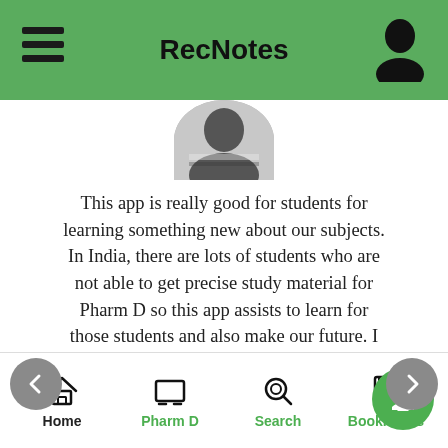RecNotes
[Figure (photo): Circular profile photo of a person at the top of the review section]
This app is really good for students for learning something new about our subjects. In India, there are lots of students who are not able to get precise study material for Pharm D so this app assists to learn for those students and also make our future. I want to say not in India in the whole world this app is fabulous.
In this app, there are so many features so that’s why student like this app. this app provide lots of questions and answer with a solution that’s why
Home   Pharm D   Search   Bookmarks